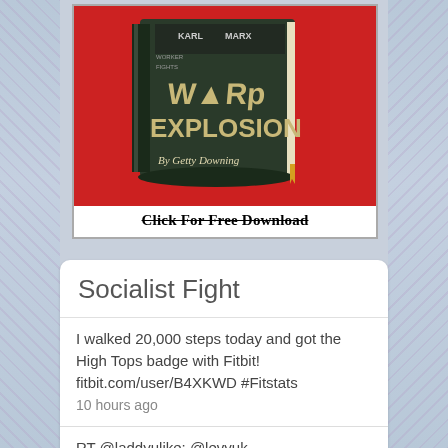[Figure (illustration): Book cover for 'Warp Explosion by Getty Downing' with red background, shown with 'Click For Free Download' text below]
Click For Free Download
Socialist Fight
I walked 20,000 steps today and got the High Tops badge with Fitbit! fitbit.com/user/B4XKWD #Fitstats
10 hours ago
RT @laddyulike: @levyuk @BasitMahmood91 Tax breaks for charity status mainly Jonathan. You gotta laugh that those that can afford to buy…
2 weeks ago